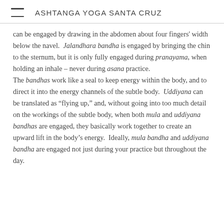ASHTANGA YOGA SANTA CRUZ
can be engaged by drawing in the abdomen about four fingers' width below the navel. Jalandhara bandha is engaged by bringing the chin to the sternum, but it is only fully engaged during pranayama, when holding an inhale – never during asana practice.
The bandhas work like a seal to keep energy within the body, and to direct it into the energy channels of the subtle body. Uddiyana can be translated as “flying up,” and, without going into too much detail on the workings of the subtle body, when both mula and uddiyana bandhas are engaged, they basically work together to create an upward lift in the body’s energy. Ideally, mula bandha and uddiyana bandha are engaged not just during your practice but throughout the day.